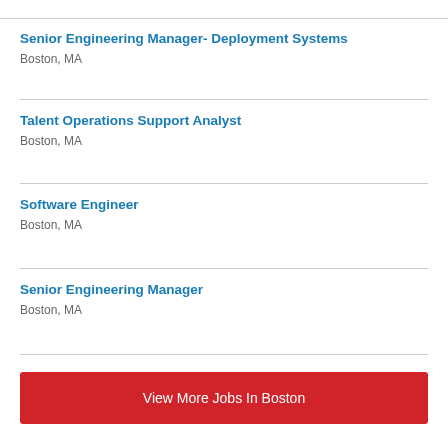Senior Engineering Manager- Deployment Systems
Boston, MA
Talent Operations Support Analyst
Boston, MA
Software Engineer
Boston, MA
Senior Engineering Manager
Boston, MA
View More Jobs In Boston